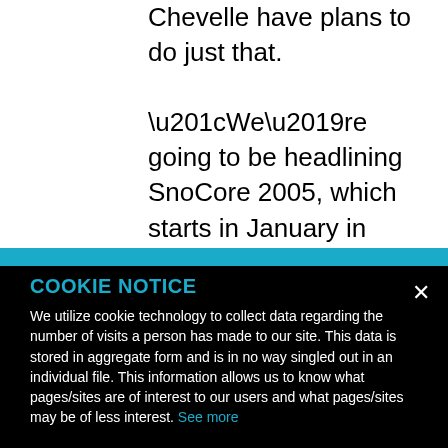Chevelle have plans to do just that.

“We’re going to be headlining SnoCore 2005, which starts in January in Vail, Colorado,” Loeffler
COOKIE NOTICE
We utilize cookie technology to collect data regarding the number of visits a person has made to our site. This data is stored in aggregate form and is in no way singled out in an individual file. This information allows us to know what pages/sites are of interest to our users and what pages/sites may be of less interest. See more